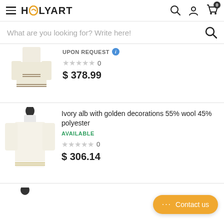HOLYART
What are you looking for? Write here!
UPON REQUEST
0
$ 378.99
Ivory alb with golden decorations 55% wool 45% polyester
AVAILABLE
0
$ 306.14
Contact us